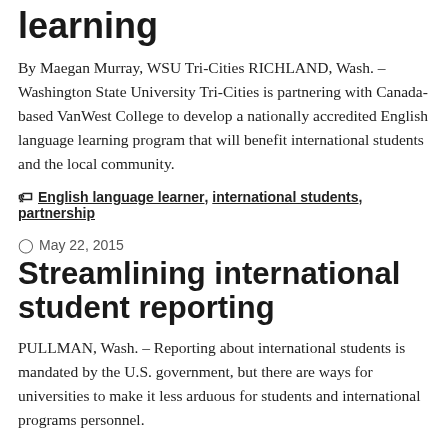learning
By Maegan Murray, WSU Tri-Cities RICHLAND, Wash. – Washington State University Tri-Cities is partnering with Canada-based VanWest College to develop a nationally accredited English language learning program that will benefit international students and the local community.
English language learner, international students, partnership
May 22, 2015
Streamlining international student reporting
PULLMAN, Wash. – Reporting about international students is mandated by the U.S. government, but there are ways for universities to make it less arduous for students and international programs personnel.